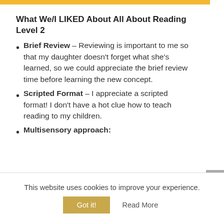What We/I LIKED About All About Reading Level 2
Brief Review – Reviewing is important to me so that my daughter doesn't forget what she's learned, so we could appreciate the brief review time before learning the new concept.
Scripted Format – I appreciate a scripted format! I don't have a hot clue how to teach reading to my children.
Multisensory approach:
This website uses cookies to improve your experience.